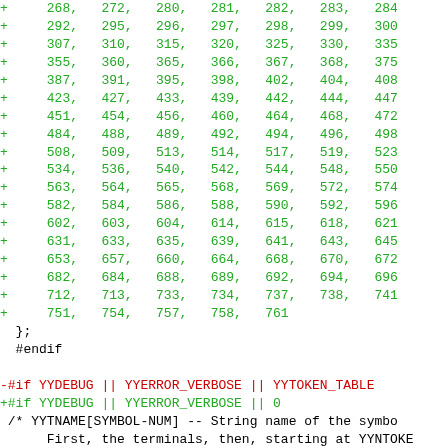Code diff showing array of numeric values, closing brace, #endif, and diff hunks for YYDEBUG/YYERROR_VERBOSE/YYTOKEN_TABLE with YYTNAME symbol name comment and static const char declarations.